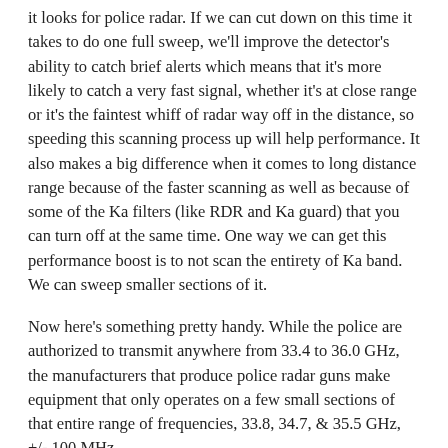it looks for police radar. If we can cut down on this time it takes to do one full sweep, we'll improve the detector's ability to catch brief alerts which means that it's more likely to catch a very fast signal, whether it's at close range or it's the faintest whiff of radar way off in the distance, so speeding this scanning process up will help performance. It also makes a big difference when it comes to long distance range because of the faster scanning as well as because of some of the Ka filters (like RDR and Ka guard) that you can turn off at the same time. One way we can get this performance boost is to not scan the entirety of Ka band. We can sweep smaller sections of it.
Now here's something pretty handy. While the police are authorized to transmit anywhere from 33.4 to 36.0 GHz, the manufacturers that produce police radar guns make equipment that only operates on a few small sections of that entire range of frequencies, 33.8, 34.7, & 35.5 GHz, +/- 100 MHz.